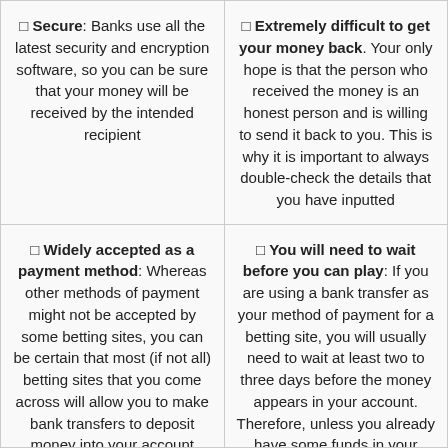✓ Secure: Banks use all the latest security and encryption software, so you can be sure that your money will be received by the intended recipient
✓ Extremely difficult to get your money back. Your only hope is that the person who received the money is an honest person and is willing to send it back to you. This is why it is important to always double-check the details that you have inputted
✓ Widely accepted as a payment method: Whereas other methods of payment might not be accepted by some betting sites, you can be certain that most (if not all) betting sites that you come across will allow you to make bank transfers to deposit money into your account
✓ You will need to wait before you can play: If you are using a bank transfer as your method of payment for a betting site, you will usually need to wait at least two to three days before the money appears in your account. Therefore, unless you already have some funds in your account, you won't be able to bet until your bank transfer has arrived